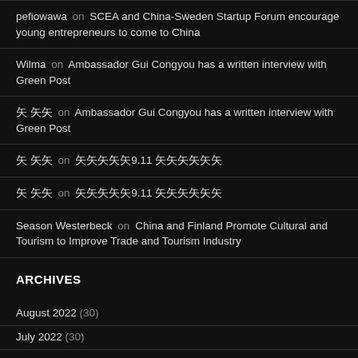pefiowawa on SCEA and China-Sweden Startup Forum encourage young entrepreneurs to come to China
Wilma on Ambassador Gui Congyou has a written interview with Green Post
矢 矢矢 on Ambassador Gui Congyou has a written interview with Green Post
矢 矢矢 on 矢矢矢矢矢9.11 矢矢矢矢矢矢
矢 矢矢 on 矢矢矢矢矢9.11 矢矢矢矢矢矢
Season Westerbeck on China and Finland Promote Cultural and Tourism to Improve Trade and Tourism Industry
ARCHIVES
August 2022 (30)
July 2022 (30)